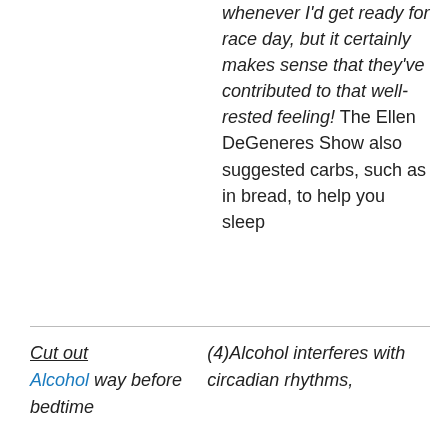whenever I'd get ready for race day, but it certainly makes sense that they've contributed to that well-rested feeling! The Ellen DeGeneres Show also suggested carbs, such as in bread, to help you sleep
Cut out Alcohol way before bedtime
(4)Alcohol interferes with circadian rhythms,